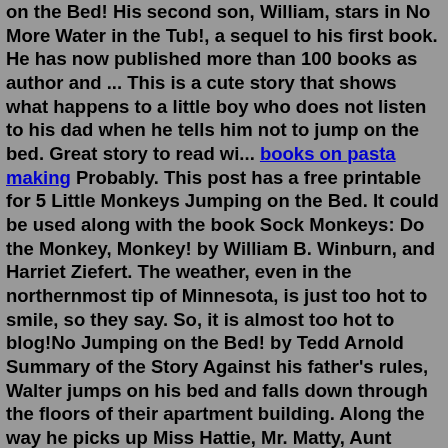on the Bed! His second son, William, stars in No More Water in the Tub!, a sequel to his first book. He has now published more than 100 books as author and ... This is a cute story that shows what happens to a little boy who does not listen to his dad when he tells him not to jump on the bed. Great story to read wi... books on pasta making Probably. This post has a free printable for 5 Little Monkeys Jumping on the Bed. It could be used along with the book Sock Monkeys: Do the Monkey, Monkey! by William B. Winburn, and Harriet Ziefert. The weather, even in the northernmost tip of Minnesota, is just too hot to smile, so they say. So, it is almost too hot to blog!No Jumping on the Bed! by Tedd Arnold Summary of the Story Against his father's rules, Walter jumps on his bed and falls down through the floors of their apartment building. Along the way he picks up Miss Hattie, Mr. Matty, Aunt Batty, Patty and Natty, Mr. Hanratty, Fatty Cat, and Maestro Ferlingatti, and they all land in the basement.About this product. Product Information. "If I've told you once I've told